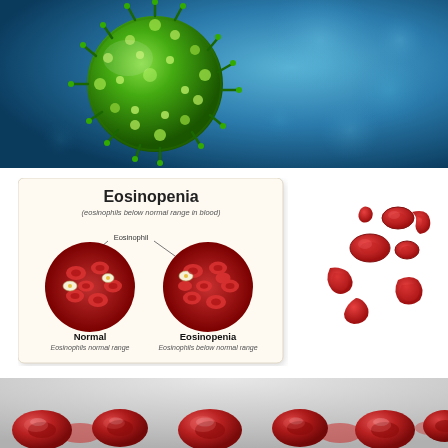[Figure (illustration): 3D rendered green spiky virus/pathogen particle against a blue bokeh background]
[Figure (illustration): Medical diagram titled 'Eosinopenia' (eosinophils below normal range in blood) on cream/white card background showing two circular blood sample illustrations: left circle labeled 'Normal - Eosinophils normal range' and right circle labeled 'Eosinopenia - Eosinophils below normal range', with eosinophil cells highlighted]
[Figure (illustration): Cartoon/illustration of red blood cells (erythrocytes) shown as red biconcave disc shapes and curved sickle shapes against white background]
[Figure (illustration): 3D rendered photograph of multiple red blood cells (erythrocytes) floating against a light grey gradient background, viewed from slightly above]